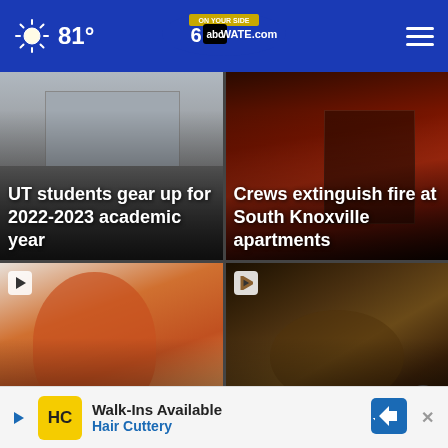81° WATE.com
[Figure (photo): News card: street scene near UT campus with text overlay 'UT students gear up for 2022-2023 academic year']
[Figure (photo): News card: fire scene at night with red lighting and text overlay 'Crews extinguish fire at South Knoxville apartments']
[Figure (photo): News card: young boy in orange Adidas shirt with play button icon, text overlay 'Morristown tod... identified by...']
[Figure (photo): News card: close-up of spider with play button icon and X close button, text overlay '...out for blood in']
Walk-Ins Available Hair Cuttery